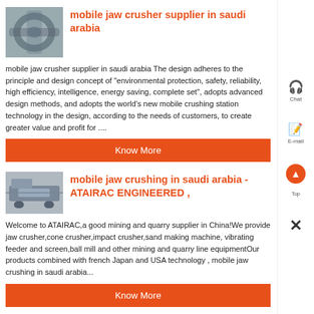[Figure (photo): Photo of a large circular crusher/grinding machine component, industrial equipment, gray tones]
mobile jaw crusher supplier in saudi arabia
mobile jaw crusher supplier in saudi arabia The design adheres to the principle and design concept of "environmental protection, safety, reliability, high efficiency, intelligence, energy saving, complete set", adopts advanced design methods, and adopts the world's new mobile crushing station technology in the design, according to the needs of customers, to create greater value and profit for ....
Know More
[Figure (photo): Photo of a mobile jaw crushing machine, industrial equipment, gray tones]
mobile jaw crushing in saudi arabia - ATAIRAC ENGINEERED ,
Welcome to ATAIRAC,a good mining and quarry supplier in China!We provide jaw crusher,cone crusher,impact crusher,sand making machine, vibrating feeder and screen,ball mill and other mining and quarry line equipmentOur products combined with french Japan and USA technology , mobile jaw crushing in saudi arabia...
Know More